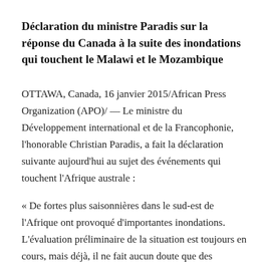Déclaration du ministre Paradis sur la réponse du Canada à la suite des inondations qui touchent le Malawi et le Mozambique
OTTAWA, Canada, 16 janvier 2015/African Press Organization (APO)/ — Le ministre du Développement international et de la Francophonie, l'honorable Christian Paradis, a fait la déclaration suivante aujourd'hui au sujet des événements qui touchent l'Afrique australe :
« De fortes plus saisonnières dans le sud-est de l'Afrique ont provoqué d'importantes inondations. L'évaluation préliminaire de la situation est toujours en cours, mais déjà, il ne fait aucun doute que des dizaines de milliers de personnes ont été